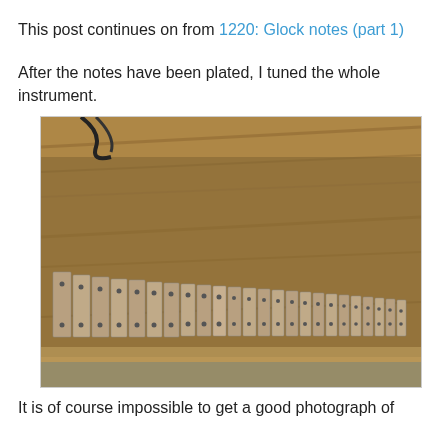This post continues on from 1220: Glock notes (part 1)
After the notes have been plated, I tuned the whole instrument.
[Figure (photo): Overhead photo of glockenspiel bars/notes laid out on a wooden workbench, showing metal bars of varying sizes arranged in a row from large to small, on a rustic wooden surface with a cable visible in the top left corner.]
It is of course impossible to get a good photograph of